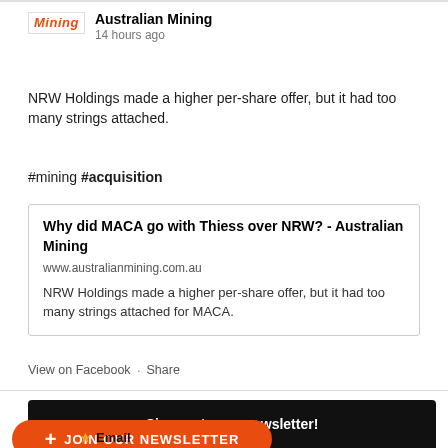Australian Mining · 14 hours ago
NRW Holdings made a higher per-share offer, but it had too many strings attached.
#mining #acquisition
[Figure (screenshot): Link card with title 'Why did MACA go with Thiess over NRW? - Australian Mining', URL www.australianmining.com.au, and description 'NRW Holdings made a higher per-share offer, but it had too many strings attached for MACA.']
View on Facebook · Share
Sign up to our newsletter!
+ JOIN OUR NEWSLETTER
Email